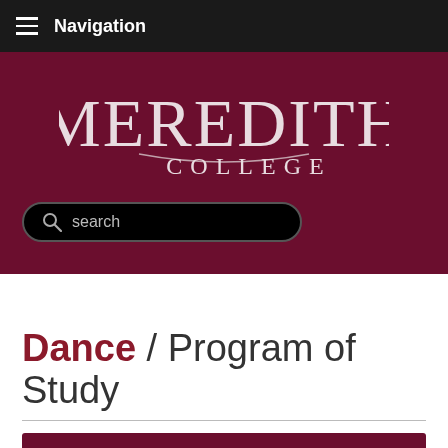Navigation
[Figure (logo): Meredith College logo — white serif text on dark maroon background, with search bar below]
Dance / Program of Study
Program of Study